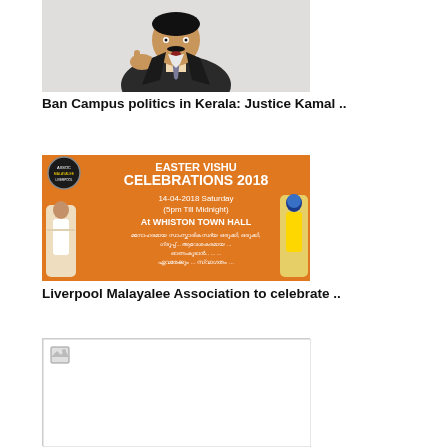[Figure (photo): Man in dark suit gesturing with hand, speaking, white background]
Ban Campus politics in Kerala: Justice Kamal ..
[Figure (photo): Easter Vishu Celebrations 2018 event poster in orange, 14-04-2018 Saturday (5pm Till Midnight) At WHISTON TOWN HALL, with figures of Jesus and Krishna]
Liverpool Malayalee Association to celebrate ..
[Figure (photo): Image placeholder with broken image icon]